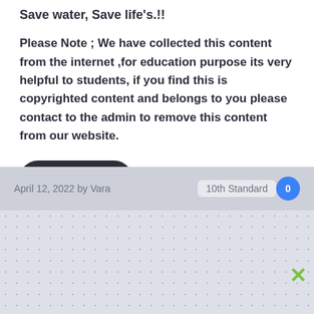Save water, Save life's.!!
Please Note ; We have collected this content from the internet ,for education purpose its very helpful to students, if you find this is copyrighted content and belongs to you please contact to the admin to remove this content from our website.
[Figure (other): Download button - dark rounded pill button with white text]
Thanks for visiting our website.
April 12, 2022 by Vara   10th Standard   0